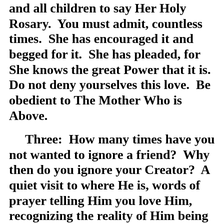and all children to say Her Holy Rosary.  You must admit, countless times.  She has encouraged it and begged for it.  She has pleaded, for She knows the great Power that it is.  Do not deny yourselves this love.  Be obedient to The Mother Who is Above.
Three:  How many times have you not wanted to ignore a friend?  Why then do you ignore your Creator?  A quiet visit to where He is, words of prayer telling Him you love Him, recognizing the reality of Him being present; an act of Faith, an act of